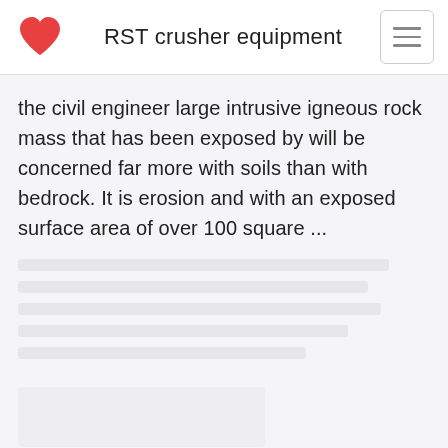RST crusher equipment
the civil engineer large intrusive igneous rock mass that has been exposed by will be concerned far more with soils than with bedrock. It is erosion and with an exposed surface area of over 100 square ...